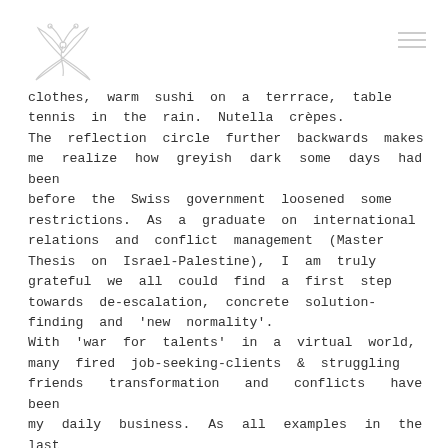[Logo and navigation menu]
clothes, warm sushi on a terrrace, table tennis in the rain. Nutella crèpes.
The reflection circle further backwards makes me realize how greyish dark some days had been before the Swiss government loosened some restrictions. As a graduate on international relations and conflict management (Master Thesis on Israel-Palestine), I am truly grateful we all could find a first step towards de-escalation, concrete solution-finding and 'new normality'.
With 'war for talents' in a virtual world, many fired job-seeking-clients & struggling friends transformation and conflicts have been my daily business. As all examples in the last